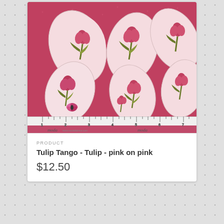[Figure (photo): Paisley tulip fabric pattern in pink/rose and green on dark pink background with ruler showing inches along bottom edge and 'moda' brand text]
PRODUCT
Tulip Tango - Tulip - pink on pink
$12.50
[Figure (photo): Abstract wavy stripe fabric pattern in various shades of pink and rose/burgundy on dark pink background]